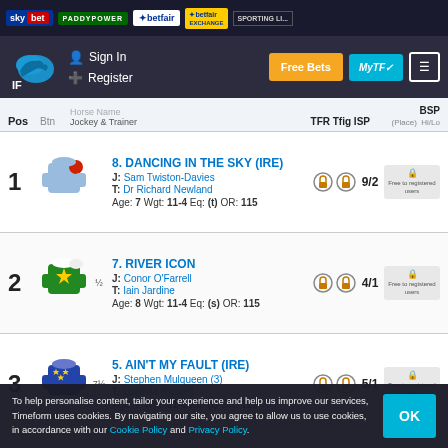sky bet | PADDYPOWER | betfair | betfair EXCHANGE | SPORTING LI...
[Figure (screenshot): Navigation bar with Timeform logo, Sign In and Register links, Free Bets button, MyTF button, menu icon]
| Pos | Btn | Horse Name / Jockey & Trainer | TFR Tfig ISP | BSP (Place) Hi/Lo |
| --- | --- | --- | --- | --- |
| 1 |  | 8. DANCING IN THE SKY (IRE)
J: Sam Twiston-Davies
T: Dr Richard Newland
Age: 7 Wgt: 11-4 Eq: (t) OR: 115 | 🔒 🔒 9/2 | Free to registered users |
| 2 | ½ | 7. RIVER ICON
J: Conor O'Farrell
T: Iain Jardine
Age: 8 Wgt: 11-4 Eq: (s) OR: 115 | 🔒 🔒 4/1 | Free to registered users |
| 3 | 7½ | 5. AIN'T MY FAULT (IRE)
J: Stephen Mulqueen (3)
T: Lucinda Russell
Age: 7 Wgt: 11-6 Eq: (t) OR: 117 | 🔒 🔒 5/1 | Free to registered users |
To help personalise content, tailor your experience and help us improve our services, Timeform uses cookies. By navigating our site, you agree to allow us to use cookies, in accordance with our Cookie Policy and Privacy Policy.